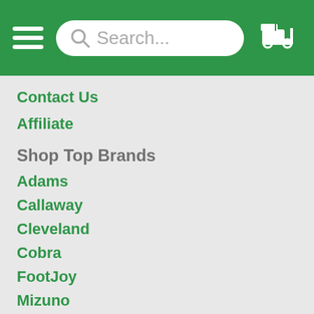Navigation header with hamburger menu, search bar, and golf cart icon
Contact Us
Affiliate
Shop Top Brands
Adams
Callaway
Cleveland
Cobra
FootJoy
Mizuno
Nike
Odyssey
Ping
Taylormade
Titleist